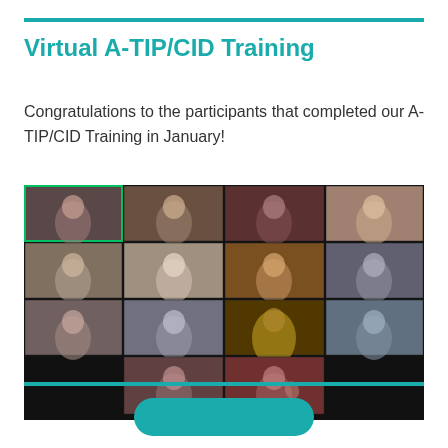Virtual A-TIP/CID Training
Congratulations to the participants that completed our A-TIP/CID Training in January!
[Figure (photo): Screenshot of a virtual video conference call showing 14 participants in a grid view on a dark background, celebrating completion of A-TIP/CID Training in January.]